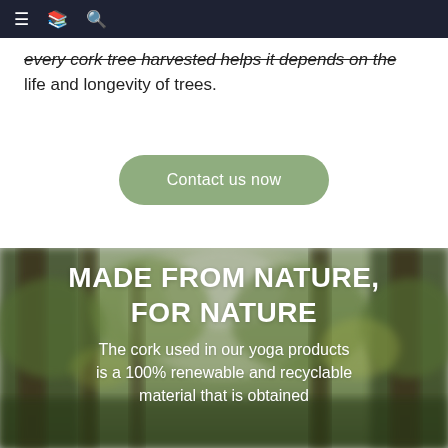≡ 📖 🔍
every cork tree harvested helps it depends on the life and longevity of trees.
Contact us now
[Figure (photo): Blurred forest background with tall trees and green/yellow foliage]
MADE FROM NATURE, FOR NATURE
The cork used in our yoga products is a 100% renewable and recyclable material that is obtained